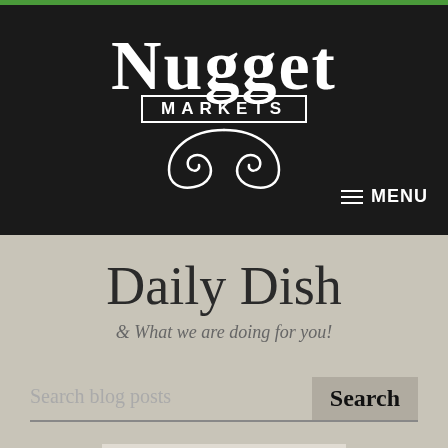[Figure (logo): Nugget Markets logo in white text on dark background with decorative scroll]
Daily Dish
& What we are doing for you!
Search blog posts
Browse by category...
[Figure (photo): Exterior photo of Nugget Markets store with large Nugget Markets sign and decorative ironwork]